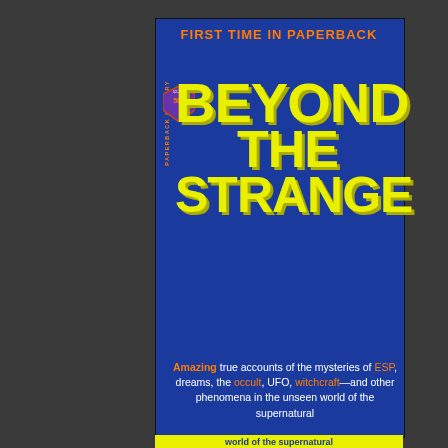[Figure (illustration): Book cover of 'Beyond the Strange' published by Paperback Library. Dark blue background with large yellow block lettering reading BEYOND THE STRANGE. Orange text at top reads FIRST TIME IN PAPERBACK. A small publisher badge on the left spine area shows 50c and the number 52-399. Bottom text describes the book content about ESP, dreams, the occult, UFO, witchcraft and other supernatural phenomena.]
FIRST TIME IN PAPERBACK
BEYOND THE STRANGE
Amazing true accounts of the mysteries of ESP, dreams, the occult, UFO, witchcraft—and other phenomena in the unseen world of the supernatural